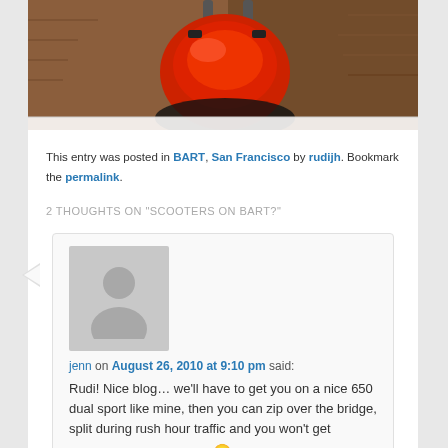[Figure (photo): Partial photo of a red scooter/motorcycle on brick pavement, showing the front fairing and handlebars]
This entry was posted in BART, San Francisco by rudijh. Bookmark the permalink.
2 THOUGHTS ON "SCOOTERS ON BART?"
jenn on August 26, 2010 at 9:10 pm said: Rudi! Nice blog… we'll have to get you on a nice 650 dual sport like mine, then you can zip over the bridge, split during rush hour traffic and you won't get hassled by BART po-po. 🙂